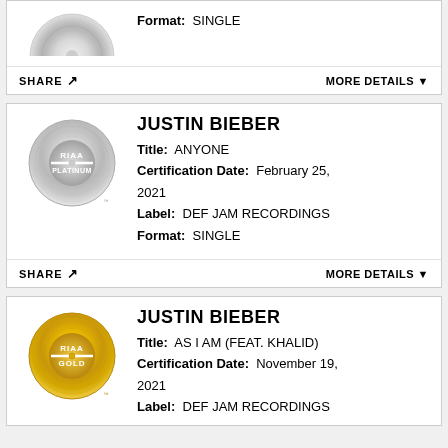[Figure (logo): RIAA Platinum certification badge (partial view, top of card cut off)]
Format: SINGLE
SHARE | MORE DETAILS
JUSTIN BIEBER
Title: ANYONE
Certification Date: February 25, 2021
Label: DEF JAM RECORDINGS
Format: SINGLE
SHARE | MORE DETAILS
[Figure (logo): RIAA Gold certification badge]
JUSTIN BIEBER
Title: AS I AM (FEAT. KHALID)
Certification Date: November 19, 2021
Label: DEF JAM RECORDINGS